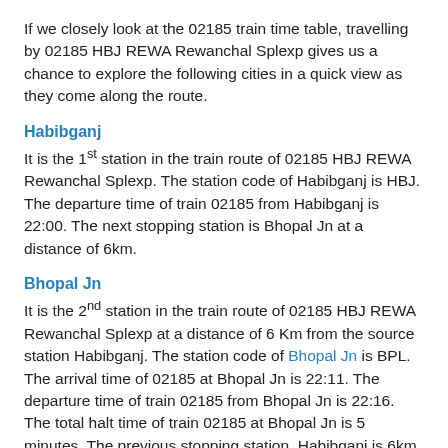If we closely look at the 02185 train time table, travelling by 02185 HBJ REWA Rewanchal Splexp gives us a chance to explore the following cities in a quick view as they come along the route.
Habibganj
It is the 1st station in the train route of 02185 HBJ REWA Rewanchal Splexp. The station code of Habibganj is HBJ. The departure time of train 02185 from Habibganj is 22:00. The next stopping station is Bhopal Jn at a distance of 6km.
Bhopal Jn
It is the 2nd station in the train route of 02185 HBJ REWA Rewanchal Splexp at a distance of 6 Km from the source station Habibganj. The station code of Bhopal Jn is BPL. The arrival time of 02185 at Bhopal Jn is 22:11. The departure time of train 02185 from Bhopal Jn is 22:16. The total halt time of train 02185 at Bhopal Jn is 5 minutes. The previous stopping station, Habibganj is 6km away. The next stopping station is Vidisha at a distance of 53km.
Vidisha